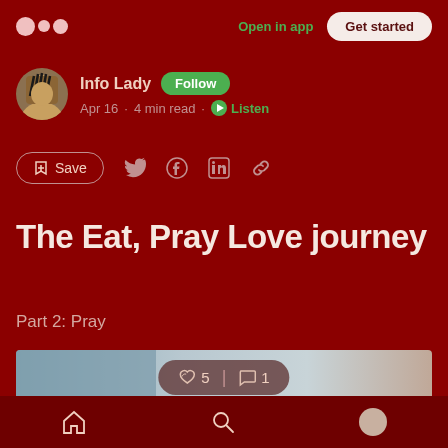Open in app · Get started
Info Lady · Follow · Apr 16 · 4 min read · Listen
Save
The Eat, Pray Love journey
Part 2: Pray
[Figure (photo): Partial photo of hands, light blue and warm background]
👏 5  | 💬 1
Home · Search · Profile